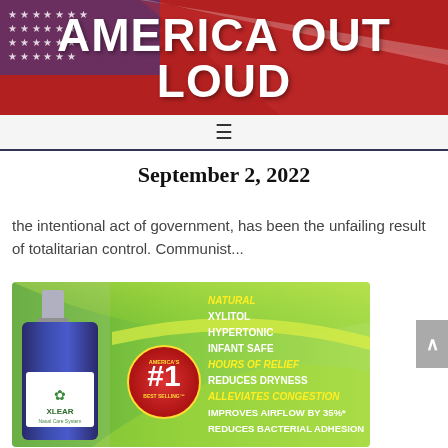AMERICA OUT LOUD
September 2, 2022
the intentional act of government, has been the unfailing result of totalitarian control. Communist...
[Figure (photo): Xlear nasal spray product advertisement with green background, showing bottle, America's #1 Best Selling badge, and product features list including: NATURAL, XYLITOL, HYPERTONIC, INFANT SAFE, HOURS OF RELIEF, REDUCES DRYNESS, ALLEVIATES CONGESTION, IMPROVES AIRFLOW BY 35%, REDUCES BACTERIAL ADHESION]